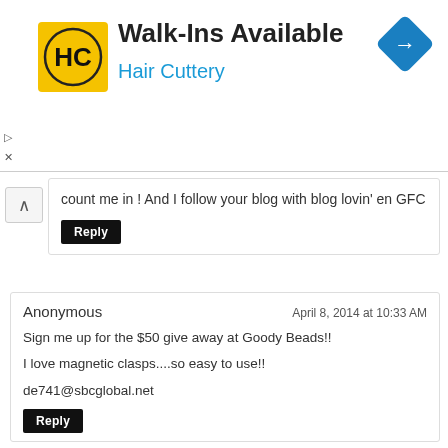[Figure (infographic): Hair Cuttery ad banner with logo, 'Walk-Ins Available' headline, and navigation arrow icon]
count me in ! And I follow your blog with blog lovin' en GFC
Reply
Anonymous  April 8, 2014 at 10:33 AM
Sign me up for the $50 give away at Goody Beads!!
I love magnetic clasps....so easy to use!!
de741@sbcglobal.net
Reply
Unknown  April 8, 2014 at 1:46 PM
I've been wanting to try some beaded jewelry but have lacked confidence. These are so impressive, I think I may